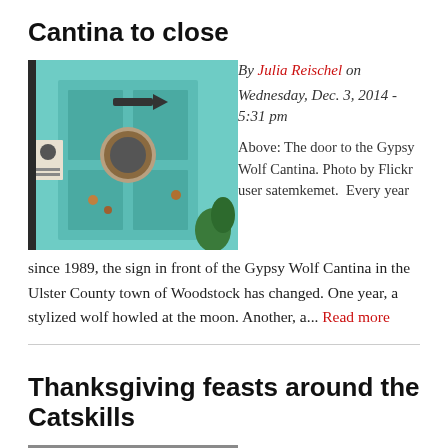Cantina to close
[Figure (photo): Photo of the door to the Gypsy Wolf Cantina, a teal/turquoise colored door with decorative items]
By Julia Reischel on Wednesday, Dec. 3, 2014 - 5:31 pm
Above: The door to the Gypsy Wolf Cantina. Photo by Flickr user satemkemet.
Every year since 1989, the sign in front of the Gypsy Wolf Cantina in the Ulster County town of Woodstock has changed. One year, a stylized wolf howled at the moon. Another, a... Read more
Thanksgiving feasts around the Catskills
[Figure (photo): Photo of a building exterior, gray/white building with windows]
By Anne Pyburn Craig on Wednesday, Nov. 26, 2014 -